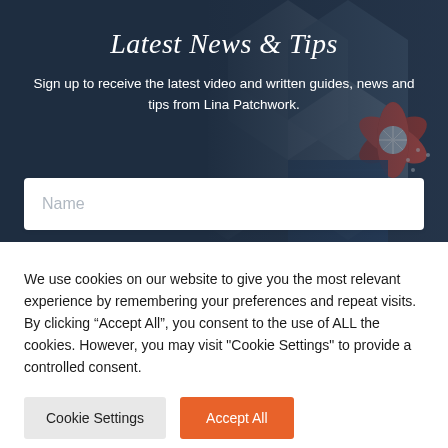[Figure (photo): Hero banner with dark navy background and a colorful patchwork quilt with red, white, and blue star/pinwheel patterns visible in the upper right corner. Contains a script title 'Latest News & Tips', a subtitle text, and a Name input field.]
Latest News & Tips
Sign up to receive the latest video and written guides, news and tips from Lina Patchwork.
We use cookies on our website to give you the most relevant experience by remembering your preferences and repeat visits. By clicking “Accept All”, you consent to the use of ALL the cookies. However, you may visit "Cookie Settings" to provide a controlled consent.
Cookie Settings
Accept All